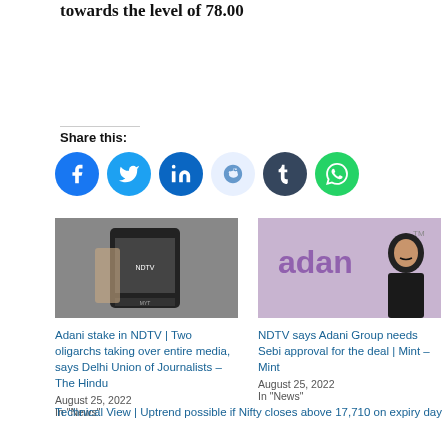towards the level of 78.00
Share this:
[Figure (illustration): Social media share buttons: Facebook, Twitter, LinkedIn, Reddit, Tumblr, WhatsApp]
[Figure (photo): Photo of a hand holding a smartphone displaying the NDTV app]
Adani stake in NDTV | Two oligarchs taking over entire media, says Delhi Union of Journalists – The Hindu
August 25, 2022
In "News"
[Figure (photo): Photo of a man in a suit in front of Adani branded backdrop]
NDTV says Adani Group needs Sebi approval for the deal | Mint – Mint
August 25, 2022
In "News"
Technical View | Uptrend possible if Nifty closes above 17,710 on expiry day